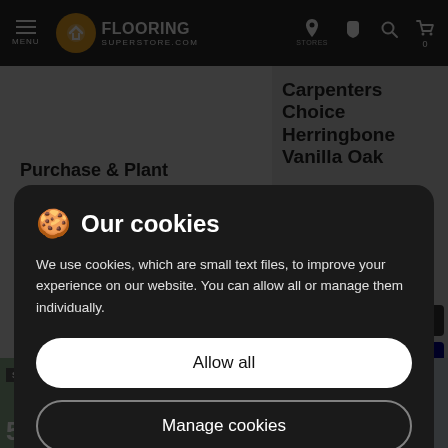Flooring Superstore — MENU, STORES, navigation icons, cart 0
Purchase & Plant
Carpenters Choice Herringbone Vanilla Oak
Lacquered
£39.99/m²
[Figure (screenshot): Cookie consent overlay on Flooring Superstore website. Shows 'Our cookies' dialog with cookie emoji icon, explanatory text, 'Allow all' and 'Manage cookies' buttons over darkened website background.]
🍪 Our cookies
We use cookies, which are small text files, to improve your experience on our website. You can allow all or manage them individually.
Allow all
Manage cookies
Summer Sale
50%
Summer Sale
50%